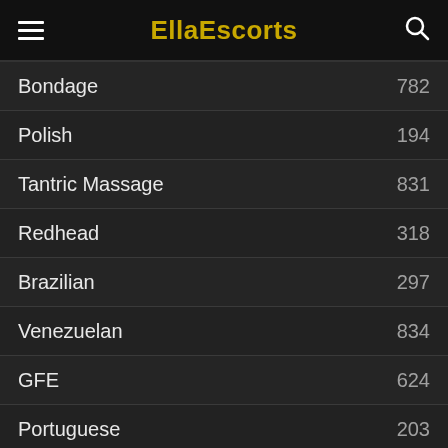EllaEscorts
Bondage 782
Polish 194
Tantric Massage 831
Redhead 318
Brazilian 297
Venezuelan 834
GFE 624
Portuguese 203